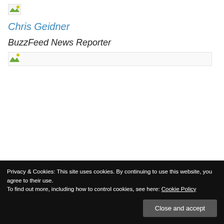[Figure (photo): Broken image placeholder for Chris Geidner profile photo]
Chris Geidner
BuzzFeed News Reporter
[Figure (photo): Broken image placeholder for content image with divider line]
Privacy & Cookies: This site uses cookies. By continuing to use this website, you agree to their use. To find out more, including how to control cookies, see here: Cookie Policy
Close and accept